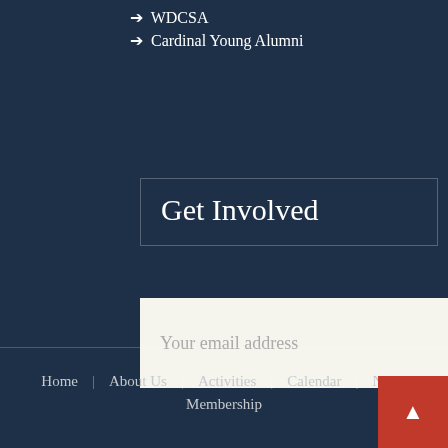→ WDCSA
→ Cardinal Young Alumni
Get Involved
Your email address
Home | About Us | Activities | Calendar | News | Membership